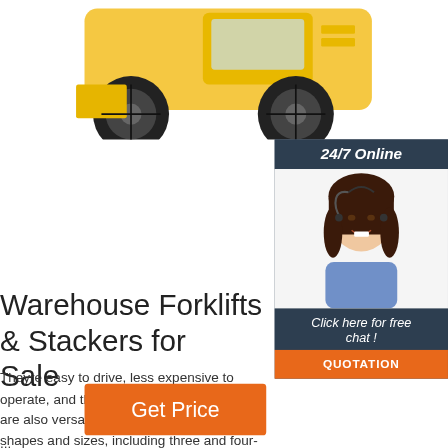[Figure (photo): Yellow industrial forklift/wheel loader vehicle photographed from the front-side angle, showing large black tires and yellow body, on white background]
[Figure (photo): Chat widget with dark blue/navy background. Top bar reads '24/7 Online'. Below is a photo of a smiling woman with dark hair wearing a headset (customer service representative). Below that text reads 'Click here for free chat !' and an orange button reads 'QUOTATION']
Warehouse Forklifts & Stackers for Sale
Theyre easy to drive, less expensive to operate, and there are zero fumes. They are also versatile and come in many shapes and sizes, including three and four-wheel configurations as well as stand on, reach or sit on. Reach Trucks. Reach forklift trucks have a higher maximum lift
...
Get Price